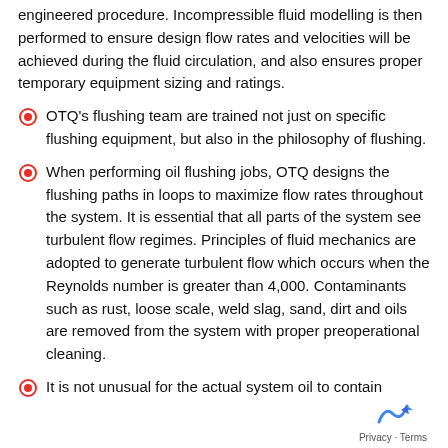engineered procedure. Incompressible fluid modelling is then performed to ensure design flow rates and velocities will be achieved during the fluid circulation, and also ensures proper temporary equipment sizing and ratings.
OTQ's flushing team are trained not just on specific flushing equipment, but also in the philosophy of flushing.
When performing oil flushing jobs, OTQ designs the flushing paths in loops to maximize flow rates throughout the system. It is essential that all parts of the system see turbulent flow regimes. Principles of fluid mechanics are adopted to generate turbulent flow which occurs when the Reynolds number is greater than 4,000. Contaminants such as rust, loose scale, weld slag, sand, dirt and oils are removed from the system with proper preoperational cleaning.
It is not unusual for the actual system oil to contain